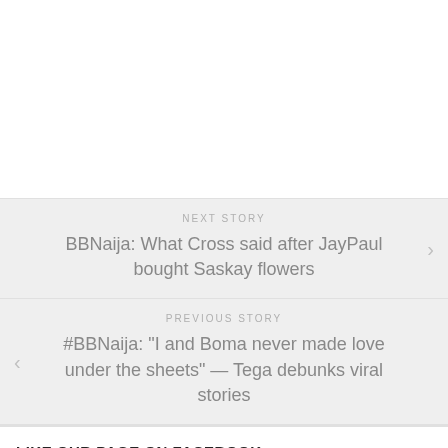NEXT STORY
BBNaija: What Cross said after JayPaul bought Saskay flowers
PREVIOUS STORY
#BBNaija: "I and Boma never made love under the sheets" — Tega debunks viral stories
LIKE OUR PAGE ON FACEBOOK